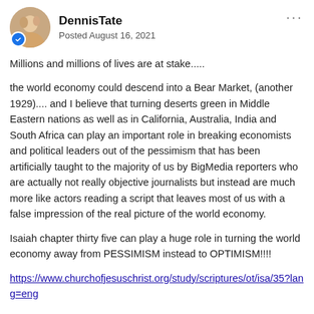DennisTate — Posted August 16, 2021
Millions and millions of lives are at stake.....
the world economy could descend into a Bear Market, (another 1929).... and I believe that turning deserts green in Middle Eastern nations as well as in California, Australia, India and South Africa can play an important role in breaking economists and political leaders out of the pessimism that has been artificially taught to the majority of us by BigMedia reporters who are actually not really objective journalists but instead are much more like actors reading a script that leaves most of us with a false impression of the real picture of the world economy.
Isaiah chapter thirty five can play a huge role in turning the world economy away from PESSIMISM instead to OPTIMISM!!!!
https://www.churchofjesuschrist.org/study/scriptures/ot/isa/35?lang=eng
1 The wilderness and the a solitary place shall